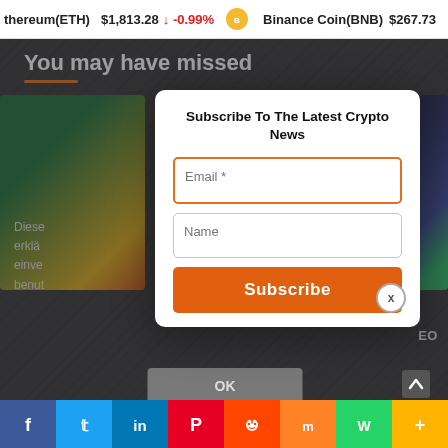ethereum(ETH) $1,813.28 ↓ -0.99% Binance Coin(BNB) $267.73
You may have missed
[Figure (screenshot): Subscribe to newsletter modal overlay on a crypto news website. Contains email input, name input, and Subscribe button.]
Diese erklä einver benut
OK
[Figure (other): Social sharing bar with Facebook, Twitter, LinkedIn, Pinterest, Reddit, Mix, WhatsApp, and More buttons]